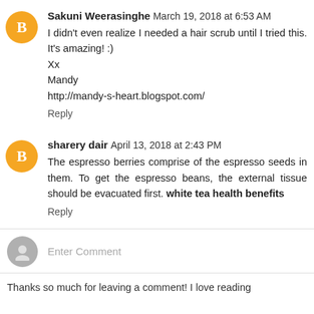Sakuni Weerasinghe March 19, 2018 at 6:53 AM
I didn't even realize I needed a hair scrub until I tried this. It's amazing! :)
Xx
Mandy
http://mandy-s-heart.blogspot.com/
Reply
sharery dair April 13, 2018 at 2:43 PM
The espresso berries comprise of the espresso seeds in them. To get the espresso beans, the external tissue should be evacuated first. white tea health benefits
Reply
Enter Comment
Thanks so much for leaving a comment! I love reading